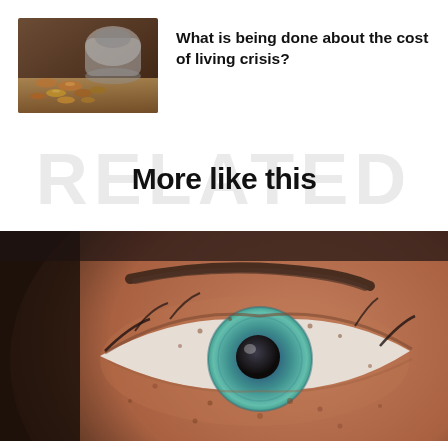[Figure (photo): Close-up photo of coins spilling out of a jar on a wooden surface]
What is being done about the cost of living crisis?
More like this
[Figure (photo): Extreme close-up of a person's eye with freckled skin and blue iris]